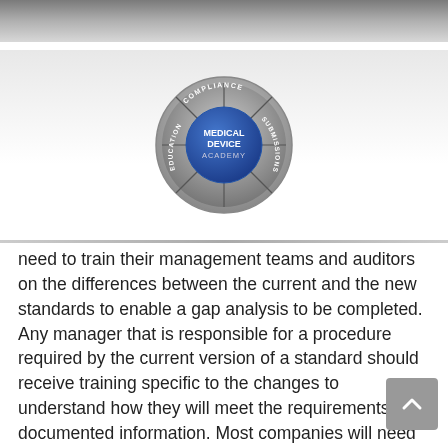[Figure (logo): Medical Device Academy logo — circular badge with blue center reading 'MEDICAL DEVICE ACADEMY', surrounded by segments labeled 'COMPLIANCE', 'SUBMISSIONS', 'EDUCATION']
need to train their management teams and auditors on the differences between the current and the new standards to enable a gap analysis to be completed. Any manager that is responsible for a procedure required by the current version of a standard should receive training specific to the changes to understand how they will meet the requirements for documented information. Most companies will need to improve their risk management